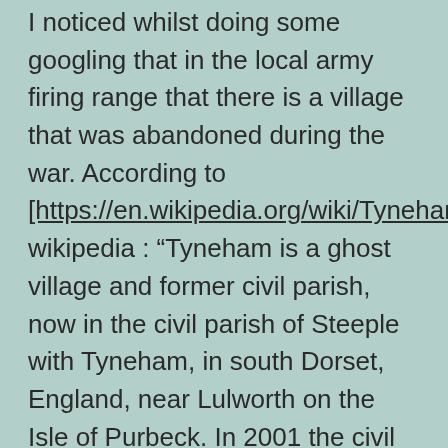I noticed whilst doing some googling that in the local army firing range that there is a village that was abandoned during the war. According to [https://en.wikipedia.org/wiki/Tyneham] wikipedia : “Tyneham is a ghost village and former civil parish, now in the civil parish of Steeple with Tyneham, in south Dorset, England, near Lulworth on the Isle of Purbeck. In 2001 the civil parish had a population of 0. The civil parish was abolished on 1 April 2014 and merged with Steeple to form Steeple with Tyneham.” At Christmas 1943 the army requisitioned the village and moved the villagers out.